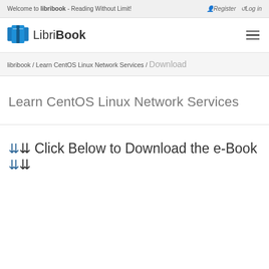Welcome to libribook - Reading Without Limit!
Register  Log in
LibriBook
libribook / Learn CentOS Linux Network Services / Download
Learn CentOS Linux Network Services
⇊ Click Below to Download the e-Book ⇊